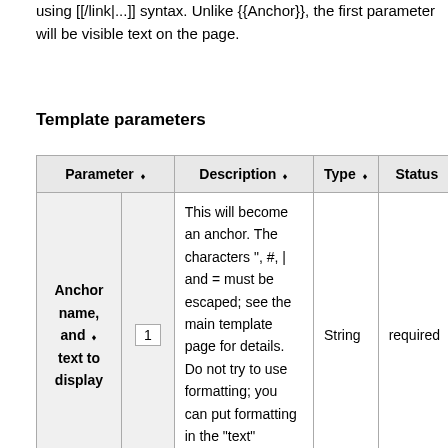using [[/link|...]] syntax. Unlike {{Anchor}}, the first parameter will be visible text on the page.
Template parameters
| Parameter | Description | Type | Status |
| --- | --- | --- | --- |
| Anchor name, and text to display | 1 | This will become an anchor. The characters ", #, | and = must be escaped; see the main template page for details. Do not try to use formatting; you can put formatting in the "text" parameter instead. | String | required |